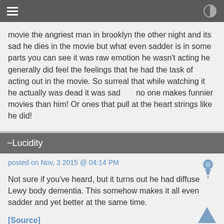movie the angriest man in brooklyn the other night and its sad he dies in the movie but what even sadder is in some parts you can see it was raw emotion he wasn't acting he generally did feel the feelings that he had the task of acting out in the movie. So surreal that while watching it he actually was dead it was sad      no one makes funnier movies than him! Or ones that pull at the heart strings like he did!
~Lucidity
posted on Nov, 3 2015 @ 04:14 PM
Not sure if you've heard, but it turns out he had diffuse Lewy body dementia. This somehow makes it all even sadder and yet better at the same time.
[Source]